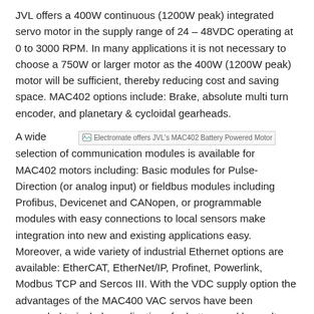JVL offers a 400W continuous (1200W peak) integrated servo motor in the supply range of 24 – 48VDC operating at 0 to 3000 RPM. In many applications it is not necessary to choose a 750W or larger motor as the 400W (1200W peak) motor will be sufficient, thereby reducing cost and saving space. MAC402 options include: Brake, absolute multi turn encoder, and planetary & cycloidal gearheads.
A wide [image: Electromate offers JVL's MAC402 Battery Powered Motor] selection of communication modules is available for MAC402 motors including: Basic modules for Pulse-Direction (or analog input) or fieldbus modules including Profibus, Devicenet and CANopen, or programmable modules with easy connections to local sensors make integration into new and existing applications easy. Moreover, a wide variety of industrial Ethernet options are available: EtherCAT, EtherNet/IP, Profinet, Powerlink, Modbus TCP and Sercos III. With the VDC supply option the advantages of the MAC400 VAC servos have been expanded to include applications for battery and low voltage operation, from 12 to 48 VDC. With wireless options like WLAN/Wifi, Zigbee or Bluetooth, the MAC402 MAC motor® can run completely wireless.
New features: